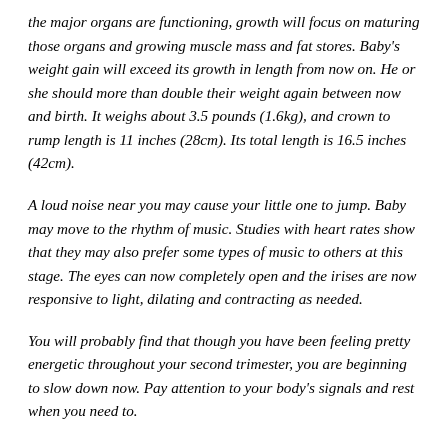the major organs are functioning, growth will focus on maturing those organs and growing muscle mass and fat stores. Baby's weight gain will exceed its growth in length from now on. He or she should more than double their weight again between now and birth. It weighs about 3.5 pounds (1.6kg), and crown to rump length is 11 inches (28cm). Its total length is 16.5 inches (42cm).
A loud noise near you may cause your little one to jump. Baby may move to the rhythm of music. Studies with heart rates show that they may also prefer some types of music to others at this stage. The eyes can now completely open and the irises are now responsive to light, dilating and contracting as needed.
You will probably find that though you have been feeling pretty energetic throughout your second trimester, you are beginning to slow down now. Pay attention to your body's signals and rest when you need to.